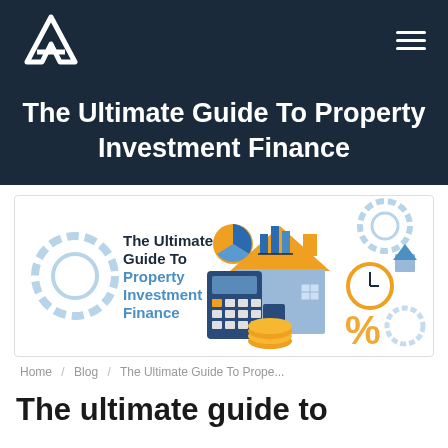The Ultimate Guide To Property Investment Finance
[Figure (illustration): Illustrated guide cover showing a blue house with orange roof, calculator, gold coins, pie chart, bar chart, gear icons, clock, and percentage symbol. Text reads: The Ultimate Guide To Property Investment Finance]
Home / Blog / The Ultimate Guide To Prope...
The ultimate guide to